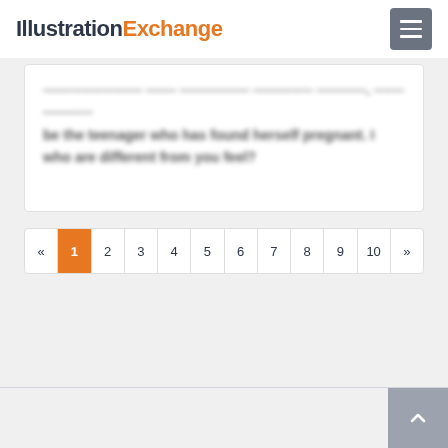IllustrationExchange
be the teenager who has found herself pregnant. I who are different from you feel?
« 1 2 3 4 5 6 7 8 9 10 »